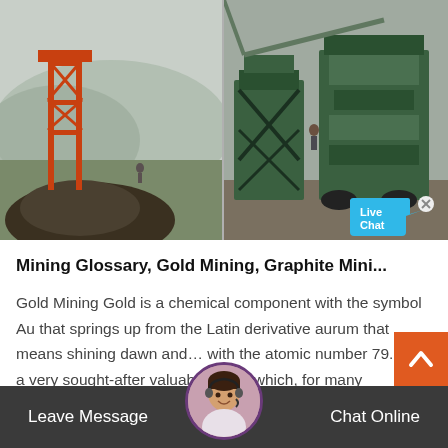[Figure (photo): Two mining site photos side by side: left shows an orange metal tower structure with a pile of dark soil/sand against a hilly landscape; right shows large green heavy mining/crushing machinery equipment at an industrial site.]
Mining Glossary, Gold Mining, Graphite Mini...
Gold Mining Gold is a chemical component with the symbol Au that springs up from the Latin derivative aurum that means shining dawn and… with the atomic number 79. It is a very sought-after valuable metal which, for many centuries, has been utilized as
Leave Message   Chat Online